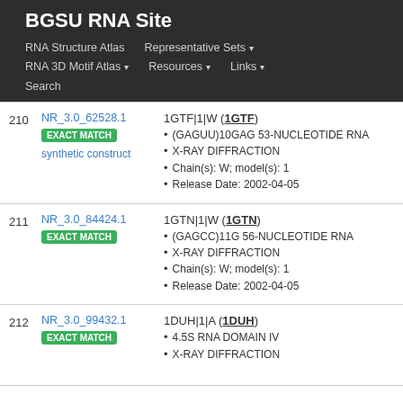BGSU RNA Site
RNA Structure Atlas | Representative Sets ▾ | RNA 3D Motif Atlas ▾ | Resources ▾ | Links ▾ | Search
| # | ID / Match | Entry Details |
| --- | --- | --- |
| 210 | NR_3.0_62528.1
EXACT MATCH
synthetic construct | 1GTF|1|W (1GTF)
• (GAGUU)10GAG 53-NUCLEOTIDE RNA
• X-RAY DIFFRACTION
• Chain(s): W; model(s): 1
• Release Date: 2002-04-05 |
| 211 | NR_3.0_84424.1
EXACT MATCH | 1GTN|1|W (1GTN)
• (GAGCC)11G 56-NUCLEOTIDE RNA
• X-RAY DIFFRACTION
• Chain(s): W; model(s): 1
• Release Date: 2002-04-05 |
| 212 | NR_3.0_99432.1
EXACT MATCH | 1DUH|1|A (1DUH)
• 4.5S RNA DOMAIN IV
• X-RAY DIFFRACTION |